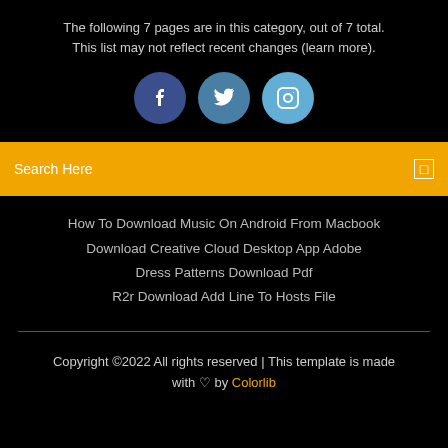The following 7 pages are in this category, out of 7 total. This list may not reflect recent changes (learn more).
[Figure (infographic): Three social media icon circles: Facebook (dark blue), Twitter (medium blue), Instagram (light blue)]
Search Here
How To Download Music On Android From Macbook
Download Creative Cloud Desktop App Adobe
Dress Patterns Download Pdf
R2r Download Add Line To Hosts File
Copyright ©2022 All rights reserved | This template is made with ♡ by Colorlib